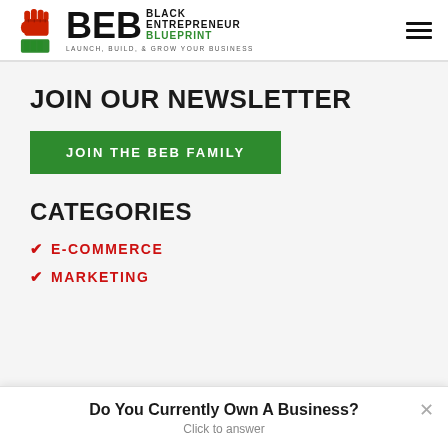[Figure (logo): Black Entrepreneur Blueprint logo with red fist holding green block, bold BEB letters, and tagline LAUNCH, BUILD, & GROW YOUR BUSINESS]
JOIN OUR NEWSLETTER
JOIN THE BEB FAMILY
CATEGORIES
E-COMMERCE
MARKETING
Do You Currently Own A Business?
Click to answer